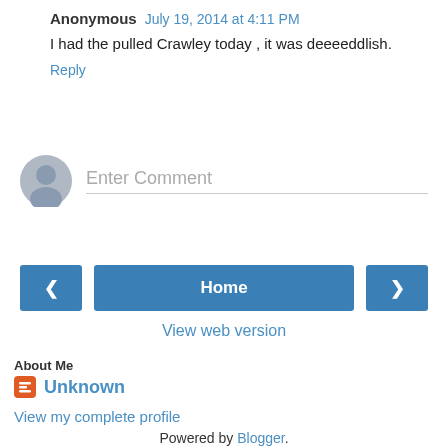Anonymous July 19, 2014 at 4:11 PM
I had the pulled Crawley today , it was deeeeddlish.
Reply
[Figure (other): Enter Comment input field with user avatar placeholder]
[Figure (other): Navigation buttons: left arrow, Home, right arrow]
View web version
About Me
Unknown
View my complete profile
Powered by Blogger.